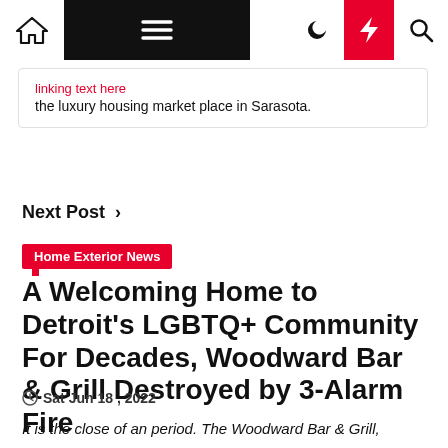Navigation bar with home, menu, moon, lightning, search icons
the luxury housing market place in Sarasota.
Next Post ›
Home Exterior News
A Welcoming Home to Detroit's LGBTQ+ Community For Decades, Woodward Bar & Grill Destroyed by 3-Alarm Fire
Sat Jun 18, 2022
It is the close of an period. The Woodward Bar & Grill,